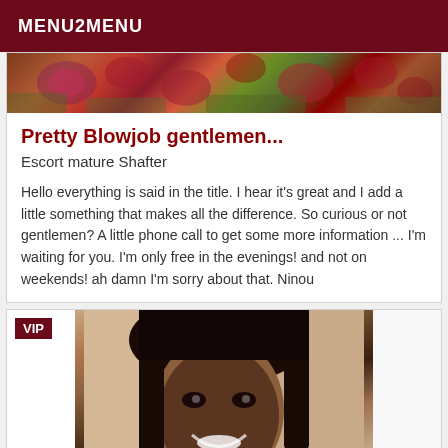MENU2MENU
[Figure (photo): Floral banner image with roses and greenery]
Pretty Blowjob gentlemen...
Escort mature Shafter
Hello everything is said in the title. I hear it's great and I add a little something that makes all the difference. So curious or not gentlemen? A little phone call to get some more information ... I'm waiting for you. I'm only free in the evenings! and not on weekends! ah damn I'm sorry about that. Ninou
[Figure (photo): Portrait photo of a young Black woman smiling, with dark hair, in a car interior. VIP badge shown.]